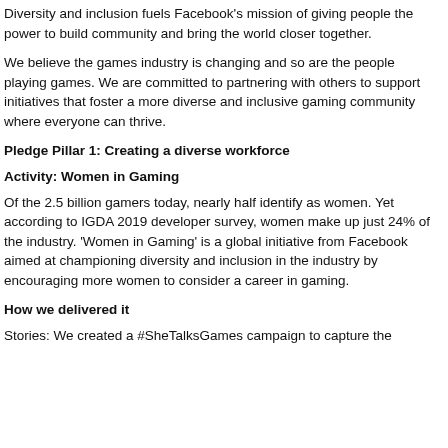Diversity and inclusion fuels Facebook's mission of giving people the power to build community and bring the world closer together.
We believe the games industry is changing and so are the people playing games. We are committed to partnering with others to support initiatives that foster a more diverse and inclusive gaming community where everyone can thrive.
Pledge Pillar 1: Creating a diverse workforce
Activity: Women in Gaming
Of the 2.5 billion gamers today, nearly half identify as women. Yet according to IGDA 2019 developer survey, women make up just 24% of the industry. 'Women in Gaming' is a global initiative from Facebook aimed at championing diversity and inclusion in the industry by encouraging more women to consider a career in gaming.
How we delivered it
Stories: We created a #SheTalksGames campaign to capture the